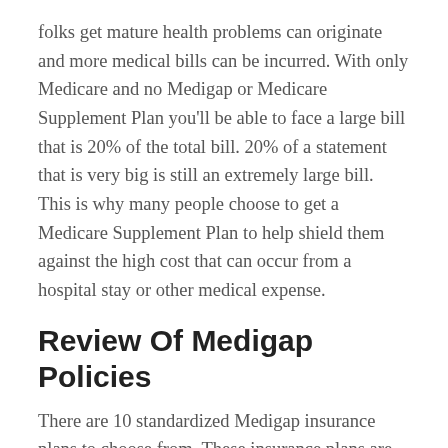folks get mature health problems can originate and more medical bills can be incurred. With only Medicare and no Medigap or Medicare Supplement Plan you'll be able to face a large bill that is 20% of the total bill. 20% of a statement that is very big is still an extremely large bill. This is why many people choose to get a Medicare Supplement Plan to help shield them against the high cost that can occur from a hospital stay or other medical expense.
Review Of Medigap Policies
There are 10 standardized Medigap insurance plans to choose from. These insurance plans are controlled by the US government Medicare and are designed to work with First Medicare to pay for what Original Medicare does not cover in full (the 20% that is left over). Medicare supplement plans are identified by a